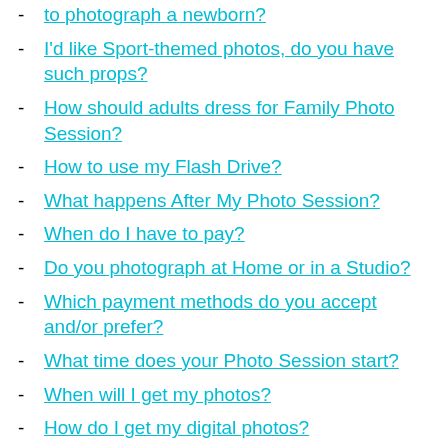to photograph a newborn?
I'd like Sport-themed photos, do you have such props?
How should adults dress for Family Photo Session?
How to use my Flash Drive?
What happens After My Photo Session?
When do I have to pay?
Do you photograph at Home or in a Studio?
Which payment methods do you accept and/or prefer?
What time does your Photo Session start?
When will I get my photos?
How do I get my digital photos?
How do I select my photos?